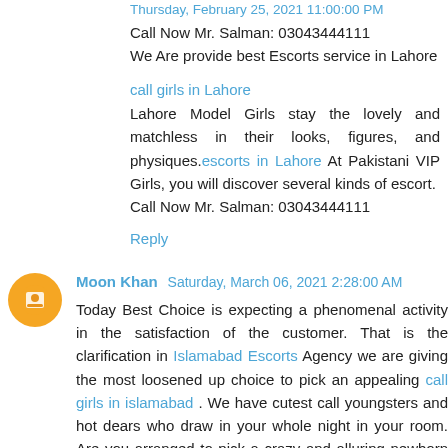Thursday, February 25, 2021 11:00:00 PM
Call Now Mr. Salman: 03043444111
We Are provide best Escorts service in Lahore
call girls in Lahore
Lahore Model Girls stay the lovely and matchless in their looks, figures, and physiques.escorts in Lahore At Pakistani VIP Girls, you will discover several kinds of escort.
Call Now Mr. Salman: 03043444111
Reply
Moon Khan  Saturday, March 06, 2021 2:28:00 AM
Today Best Choice is expecting a phenomenal activity in the satisfaction of the customer. That is the clarification in Islamabad Escorts Agency we are giving the most loosened up choice to pick an appealing call girls in islamabad . We have cutest call youngsters and hot dears who draw in your whole night in your room. Are you arranged to pick a crazy and alluring newborn child in Pakistan Escorts Agency how about we do it magnificently
for more information call now 03001101158